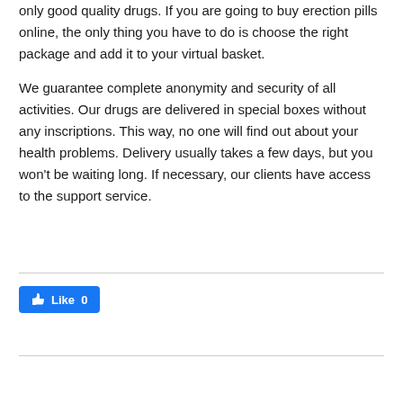only good quality drugs. If you are going to buy erection pills online, the only thing you have to do is choose the right package and add it to your virtual basket.
We guarantee complete anonymity and security of all activities. Our drugs are delivered in special boxes without any inscriptions. This way, no one will find out about your health problems. Delivery usually takes a few days, but you won't be waiting long. If necessary, our clients have access to the support service.
[Figure (other): Facebook Like button showing 'Like 0' with thumbs up icon on blue background]